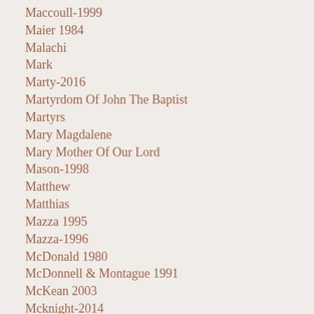Maccoull-1999
Maier 1984
Malachi
Mark
Marty-2016
Martyrdom Of John The Baptist
Martyrs
Mary Magdalene
Mary Mother Of Our Lord
Mason-1998
Matthew
Matthias
Mazza 1995
Mazza-1996
McDonald 1980
McDonnell & Montague 1991
McKean 2003
Mcknight-2014
Micah